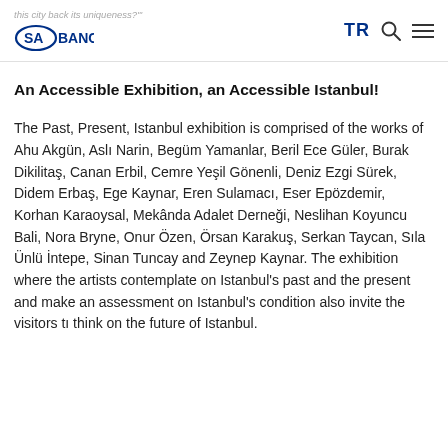this city back its uniqueness?" [SABANCI logo] TR [search icon] [menu icon]
An Accessible Exhibition, an Accessible Istanbul!
The Past, Present, Istanbul exhibition is comprised of the works of Ahu Akgün, Aslı Narin, Begüm Yamanlar, Beril Ece Güler, Burak Dikilitaş, Canan Erbil, Cemre Yeşil Gönenli, Deniz Ezgi Sürek, Didem Erbaş, Ege Kaynar, Eren Sulamacı, Eser Epözdemir, Korhan Karaoysal, Mekânda Adalet Derneği, Neslihan Koyuncu Bali, Nora Bryne, Onur Özen, Örsan Karakuş, Serkan Taycan, Sıla Ünlü İntepe, Sinan Tuncay and Zeynep Kaynar. The exhibition where the artists contemplate on Istanbul's past and the present and make an assessment on Istanbul's condition also invite the visitors tı think on the future of Istanbul.